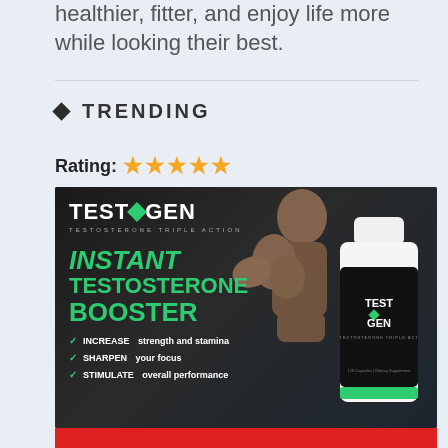healthier, fitter, and enjoy life more while looking their best.
◆ TRENDING
Rating: ★★★★★
[Figure (advertisement): TestoGen advertisement banner showing: TestoGen Testosterone Triple Action logo with green diamond, headline 'INSTANT TESTOSTERONE BOOSTER' in green italic bold text, bullet points: INCREASE strength and stamina, SHARPEN your focus, STIMULATE overall performance. A muscular man flexing on right side, and a TestoGen supplement bottle. Dark background with red bar at bottom.]